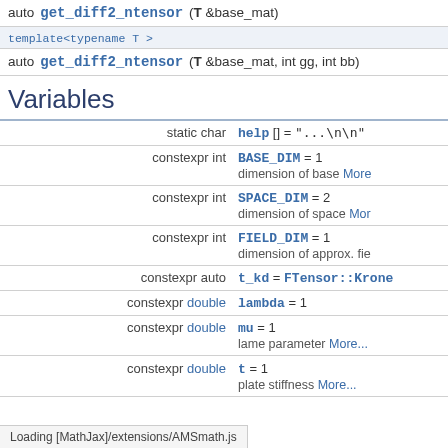| auto | get_diff2_ntensor (T &base_mat) |
| template<typename T > |  |
| auto | get_diff2_ntensor (T &base_mat, int gg, int bb) |
Variables
| static char | help [] = "...\n\n" |
| constexpr int | BASE_DIM = 1
dimension of base More |
| constexpr int | SPACE_DIM = 2
dimension of space Mor |
| constexpr int | FIELD_DIM = 1
dimension of approx. fie |
| constexpr auto | t_kd = FTensor::Krone |
| constexpr double | lambda = 1 |
| constexpr double | mu = 1
lame parameter More... |
| constexpr double | t = 1
plate stiffness More... |
Loading [MathJax]/extensions/AMSmath.js